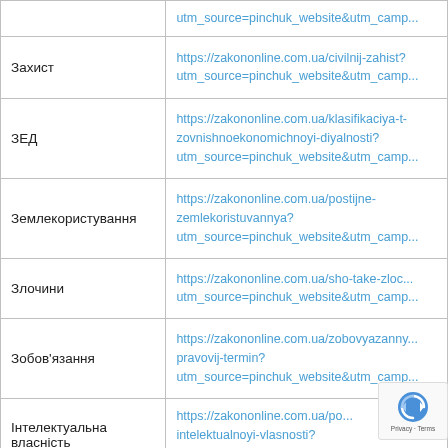| Category | URL |
| --- | --- |
|  | utm_source=pinchuk_website&utm_camp... |
| Захист | https://zakononline.com.ua/civilnij-zahist?
utm_source=pinchuk_website&utm_camp... |
| ЗЕД | https://zakononline.com.ua/klasifikaciya-t-
zovnishnoekonomichnoyi-diyalnosti?
utm_source=pinchuk_website&utm_camp... |
| Землекористування | https://zakononline.com.ua/postijne-
zemlekoristuvannya?
utm_source=pinchuk_website&utm_camp... |
| Злочини | https://zakononline.com.ua/sho-take-zloc...
utm_source=pinchuk_website&utm_camp... |
| Зобов'язання | https://zakononline.com.ua/zobovyazanny...
pravovij-termin?
utm_source=pinchuk_website&utm_camp... |
| Інтелектуальна власність | https://zakononline.com.ua/po...
intelektualnoyi-vlasnosti?
utm_source=pinchuk_website&utm_... |